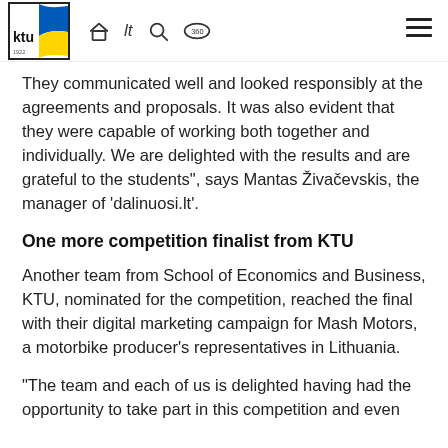KTU logo and navigation header
They communicated well and looked responsibly at the agreements and proposals. It was also evident that they were capable of working both together and individually. We are delighted with the results and are grateful to the students", says Mantas Živačevskis, the manager of 'dalinuosi.lt'.
One more competition finalist from KTU
Another team from School of Economics and Business, KTU, nominated for the competition, reached the final with their digital marketing campaign for Mash Motors, a motorbike producer's representatives in Lithuania.
“The team and each of us is delighted having had the opportunity to take part in this competition and even